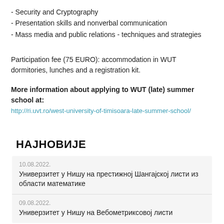- Security and Cryptography
- Presentation skills and nonverbal communication
- Mass media and public relations - techniques and strategies
Participation fee (75 EURO): accommodation in WUT dormitories, lunches and a registration kit.
More information about applying to WUT (late) summer school at: http://ri.uvt.ro/west-university-of-timisoara-late-summer-school/
НАЈНОВИЈЕ
10.08.2022.
Универзитет у Нишу на престижној Шангајској листи из области математике
09.08.2022.
Универзитет у Нишу на Вебометриксовој листи